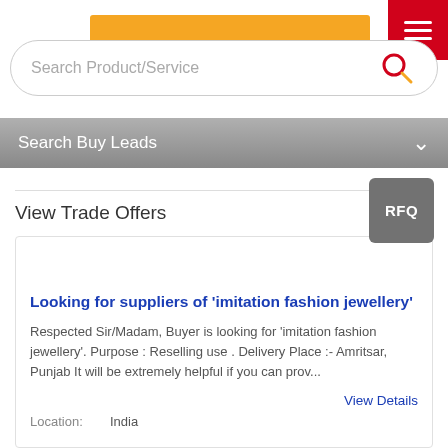[Figure (screenshot): Search Product/Service input bar with magnifying glass icon and red menu button]
Search Product/Service
Search Buy Leads
View Trade Offers
Looking for suppliers of 'imitation fashion jewellery'
Respected Sir/Madam, Buyer is looking for 'imitation fashion jewellery'. Purpose : Reselling use . Delivery Place :- Amritsar, Punjab It will be extremely helpful if you can prov...
View Details
Location:    India